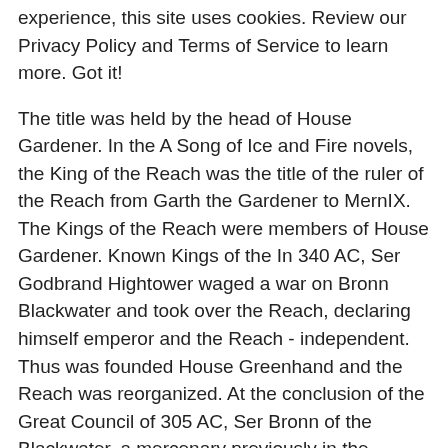experience, this site uses cookies. Review our Privacy Policy and Terms of Service to learn more. Got it!
The title was held by the head of House Gardener. In the A Song of Ice and Fire novels, the King of the Reach was the title of the ruler of the Reach from Garth the Gardener to MernIX. The Kings of the Reach were members of House Gardener. Known Kings of the In 340 AC, Ser Godbrand Hightower waged a war on Bronn Blackwater and took over the Reach, declaring himself emperor and the Reach - independent. Thus was founded House Greenhand and the Reach was reorganized. At the conclusion of the Great Council of 305 AC, Ser Bronn of the Blackwater, a mercenary previously in the employ of House Lannister, was granted the